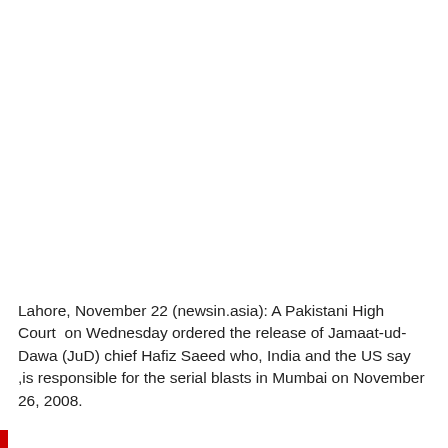Lahore, November 22 (newsin.asia): A Pakistani High Court  on Wednesday ordered the release of Jamaat-ud-Dawa (JuD) chief Hafiz Saeed who, India and the US say ,is responsible for the serial blasts in Mumbai on November 26, 2008.